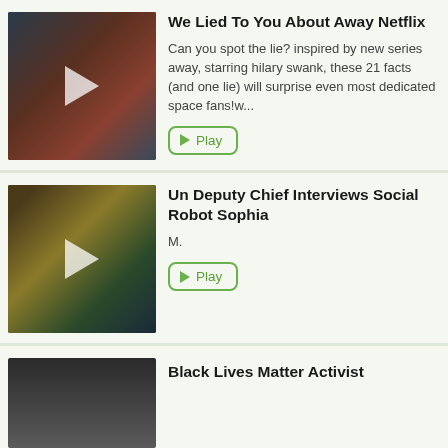[Figure (photo): Thumbnail of woman in astronaut suit from Netflix series Away, with play overlay]
We Lied To You About Away Netflix
Can you spot the lie? inspired by new series away, starring hilary swank, these 21 facts (and one lie) will surprise even most dedicated space fans!w...
[Figure (photo): Thumbnail of UN Deputy Chief and Social Robot Sophia event, with play overlay]
Un Deputy Chief Interviews Social Robot Sophia
M.
[Figure (photo): Partial thumbnail showing top of a person's head with dark hair]
Black Lives Matter Activist